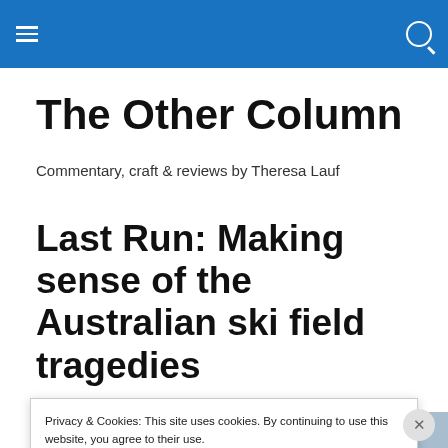The Other Column – navigation bar with hamburger menu and search icon
The Other Column
Commentary, craft & reviews by Theresa Lauf
Last Run: Making sense of the Australian ski field tragedies
[Figure (photo): Partial photo visible below article title, grey-blue sky/mountain image]
Privacy & Cookies: This site uses cookies. By continuing to use this website, you agree to their use.
To find out more, including how to control cookies, see here: Cookie Policy
Close and accept